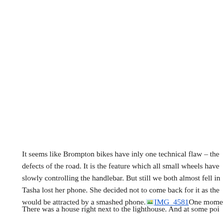It seems like Brompton bikes have inly one technical flaw – the defects of the road. It is the feature which all small wheels have slowly controlling the handlebar. But still we both almost fell in Tasha lost her phone. She decided not to come back for it as the would be attracted by a smashed phone. IMG_4581 One mome
There was a house right next to the lighthouse. And at some poi